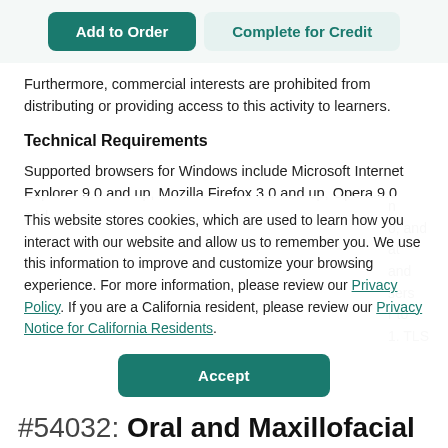[Figure (screenshot): Two buttons: 'Add to Order' (teal filled) and 'Complete for Credit' (light teal outlined)]
Furthermore, commercial interests are prohibited from distributing or providing access to this activity to learners.
Technical Requirements
Supported browsers for Windows include Microsoft Internet Explorer 9.0 and up, Mozilla Firefox 3.0 and up, Opera 9.0 and
This website stores cookies, which are used to learn how you interact with our website and allow us to remember you. We use this information to improve and customize your browsing experience. For more information, please review our Privacy Policy. If you are a California resident, please review our Privacy Notice for California Residents.
[Figure (screenshot): Accept button (teal filled rounded rectangle)]
#54032: Oral and Maxillofacial